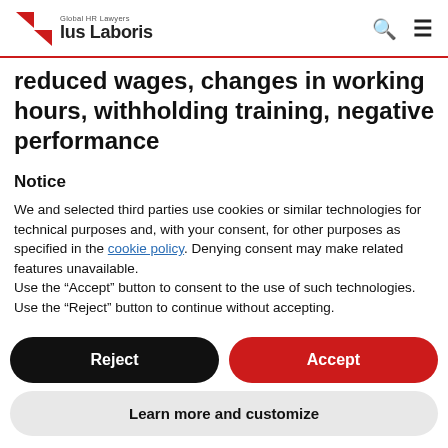Global HR Lawyers Ius Laboris
reduced wages, changes in working hours, withholding training, negative performance
Notice
We and selected third parties use cookies or similar technologies for technical purposes and, with your consent, for other purposes as specified in the cookie policy. Denying consent may make related features unavailable.
Use the “Accept” button to consent to the use of such technologies. Use the “Reject” button to continue without accepting.
Reject
Accept
Learn more and customize